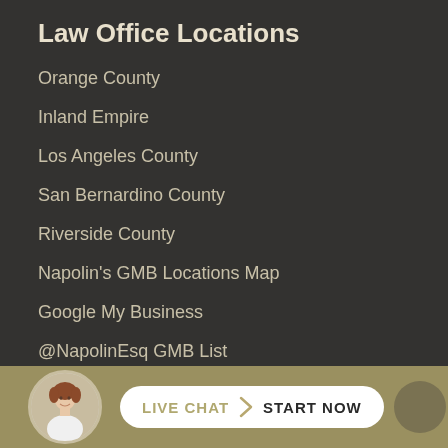Law Office Locations
Orange County
Inland Empire
Los Angeles County
San Bernardino County
Riverside County
Napolin's GMB Locations Map
Google My Business
@NapolinEsq GMB List
Anaheim Injury Attorneys!
Anaheim Car Accident Legal Help
Contact Information
[Figure (infographic): Live chat widget with female avatar and 'LIVE CHAT START NOW' button on olive/tan background bar]